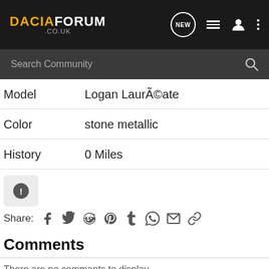DACIAFORUM .CO.UK
Search Community
Model   Logan LaurÃ©ate
Color   stone metallic
History   0 Miles
Share:
Comments
There are no comments to display.